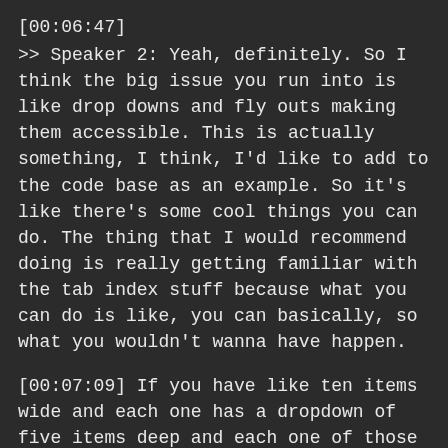[00:06:47]
>> Speaker 2: Yeah, definitely. So I think the big issue you run into is like drop downs and fly outs making them accessible. This is actually something, I think, I'd like to add to the code base as an example. So it's like there's some cool things you can do. The thing that I would recommend doing is really getting familiar with the tab index stuff because what you can do is like, you can basically, so what you wouldn't wanna have happen.
[00:07:09] If you have like ten items wide and each one has a dropdown of five items deep and each one of those is a fly out. What you don't want is for someone to get to the tenth item, then have to hit the first one which causes the drop down then go through, you know that I mean?